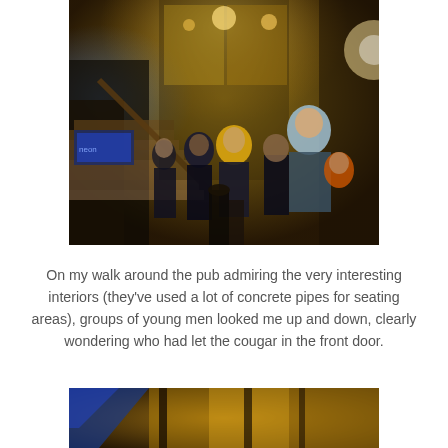[Figure (photo): Indoor photo of a dimly lit pub/bar interior at night. Multiple people standing near the entrance/stairs. A woman in a yellow jacket and a man in a light blue shirt are prominent. Warm golden lighting, decorative elements on walls.]
On my walk around the pub admiring the very interesting interiors (they've used a lot of concrete pipes for seating areas), groups of young men looked me up and down, clearly wondering who had let the cougar in the front door.
[Figure (photo): Partial photo at bottom of page showing interior of the pub with warm lighting, partially cropped.]